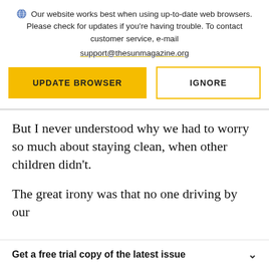Our website works best when using up-to-date web browsers. Please check for updates if you're having trouble. To contact customer service, e-mail support@thesunmagazine.org
[Figure (other): Two buttons: a yellow filled button labeled UPDATE BROWSER and a yellow-outlined button labeled IGNORE]
But I never understood why we had to worry so much about staying clean, when other children didn't.
The great irony was that no one driving by our
Get a free trial copy of the latest issue